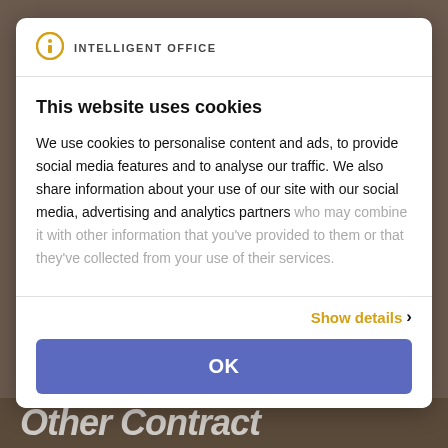[Figure (logo): Intelligent Office logo with orange circle-i icon and text 'INTELLIGENT OFFICE']
This website uses cookies
We use cookies to personalise content and ads, to provide social media features and to analyse our traffic. We also share information about your use of our site with our social media, advertising and analytics partners who may combine it with other information that you've provided to them or that they've collected from your use of their services.
Show details >
OK